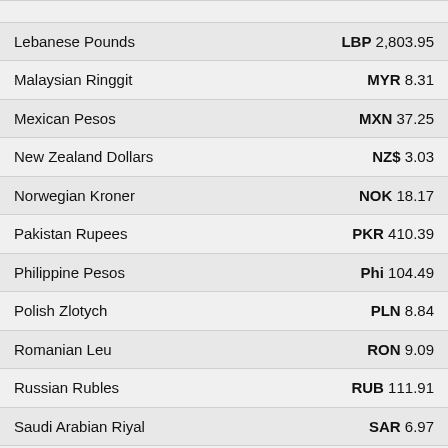| Currency | Amount |
| --- | --- |
| Lebanese Pounds | LBP 2,803.95 |
| Malaysian Ringgit | MYR 8.31 |
| Mexican Pesos | MXN 37.25 |
| New Zealand Dollars | NZ$ 3.03 |
| Norwegian Kroner | NOK 18.17 |
| Pakistan Rupees | PKR 410.39 |
| Philippine Pesos | Phi 104.49 |
| Polish Zlotych | PLN 8.84 |
| Romanian Leu | RON 9.09 |
| Russian Rubles | RUB 111.91 |
| Saudi Arabian Riyal | SAR 6.97 |
| Singapore Dollars | S$ 2.59 |
| South African Rand | R 31.41 |
| Swedish Krona | K 19.86 |
| Swiss Francs | CHF 1.80 |